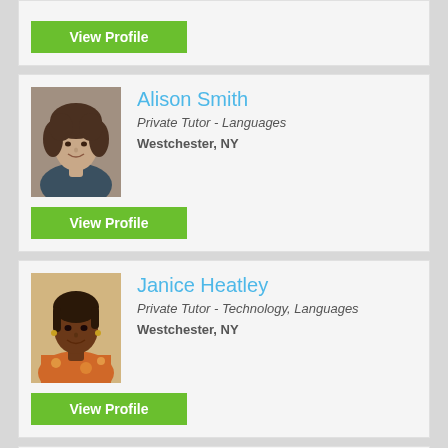View Profile
[Figure (photo): Profile photo of Alison Smith, a woman with curly dark hair, smiling]
Alison Smith
Private Tutor - Languages
Westchester, NY
View Profile
[Figure (photo): Profile photo of Janice Heatley, a woman with short dark hair, smiling]
Janice Heatley
Private Tutor - Technology, Languages
Westchester, NY
View Profile
[Figure (photo): Profile photo of Jennifer Smith, a woman, partially visible]
Jennifer Smith
Teacher - Testing, Technology, Languages, Athletics, Acting,